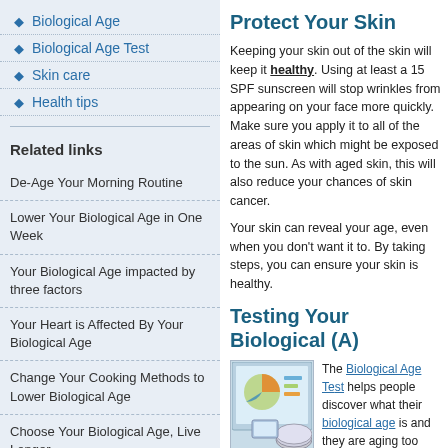Biological Age
Biological Age Test
Skin care
Health tips
Related links
De-Age Your Morning Routine
Lower Your Biological Age in One Week
Your Biological Age impacted by three factors
Your Heart is Affected By Your Biological Age
Change Your Cooking Methods to Lower Biological Age
Choose Your Biological Age, Live Longer
Protect Your Skin
Keeping your skin out of the skin will keep it healthy. Using at least a 15 SPF sunscreen will stop wrinkles from appearing on your face more quickly. Make sure you apply it to all of the areas of skin which might be exposed to the sun. As with aged skin, this will also reduce your chances of skin cancer.
Your skin can reveal your age, even when you don’t want it to. By taking steps, you can ensure your skin is healthy.
Testing Your Biological (Age)
[Figure (screenshot): Screenshot of a Biological Age Test software with charts and a CD.]
The Biological Age Test helps people discover what their biological age is and allows them to see if they are aging too rapidly. Knowing what direction your biological age is moving can help you stay youthful. It's never too late to make changes. No matter what the results, being able to track changes will let you know if you are heading in the right direction for health, or if you need to change directions.